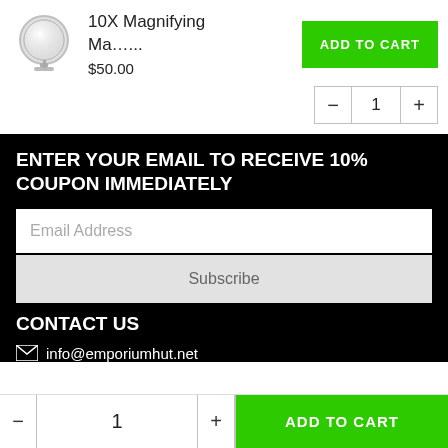[Figure (photo): 10X magnifying makeup mirror product image, round, silver stand]
10X Magnifying Ma.....
$50.00
ADD TO CART
1
ENTER YOUR EMAIL TO RECEIVE 10% COUPON IMMEDIATELY
Email Address
Subscribe
CONTACT US
info@emporiumhut.net
- 1 + ADD TO CART